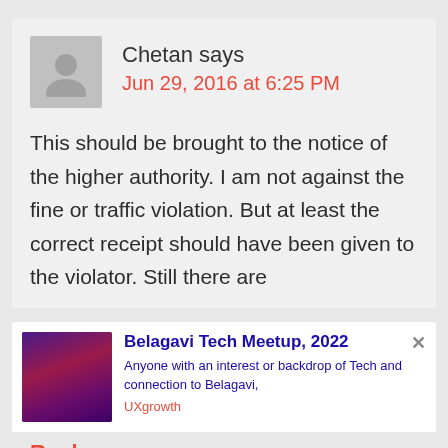Chetan says
Jun 29, 2016 at 6:25 PM
This should be brought to the notice of the higher authority. I am not against the fine or traffic violation. But at least the correct receipt should have been given to the violator. Still there are
[Figure (infographic): Belagavi Tech Meetup 2022 advertisement banner with purple/pink gradient image thumbnail]
Reply